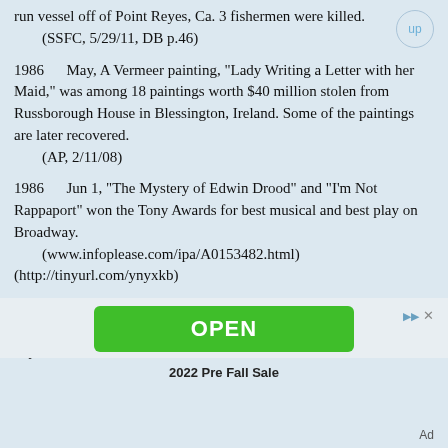run vessel off of Point Reyes, Ca. 3 fishermen were killed.
    (SSFC, 5/29/11, DB p.46)
1986    May, A Vermeer painting, "Lady Writing a Letter with her Maid," was among 18 paintings worth $40 million stolen from Russborough House in Blessington, Ireland. Some of the paintings are later recovered.
    (AP, 2/11/08)
1986    Jun 1, "The Mystery of Edwin Drood" and "I'm Not Rappaport" won the Tony Awards for best musical and best play on Broadway.
    (www.infoplease.com/ipa/A0153482.html)
(http://tinyurl.com/ynyxkb)
1986    Jun 2, For the first time, the public could watch the proceedings of the U.S. Senate on television as a six-week experiment of
[Figure (other): Green OPEN button advertisement banner with arrow and X icons, labeled '2022 Pre Fall Sale']
Ad